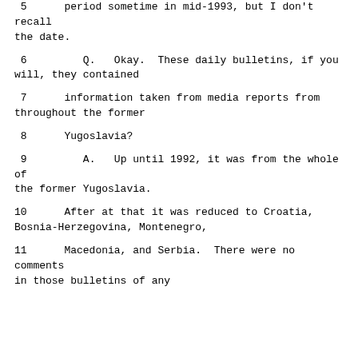5      period sometime in mid-1993, but I don't recall the date.
6         Q.   Okay.  These daily bulletins, if you will, they contained
7       information taken from media reports from throughout the former
8       Yugoslavia?
9         A.   Up until 1992, it was from the whole of the former Yugoslavia.
10      After at that it was reduced to Croatia, Bosnia-Herzegovina, Montenegro,
11      Macedonia, and Serbia.  There were no comments in those bulletins of any